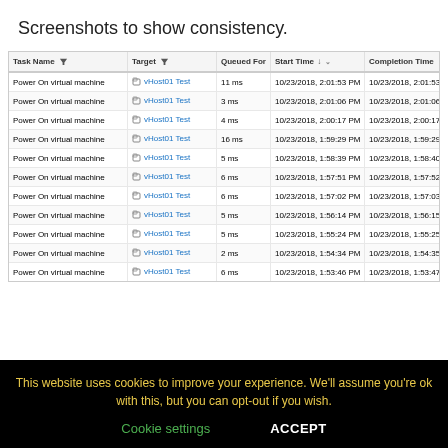Screenshots to show consistency.
| Task Name | Target | Queued For | Start Time ↓ | Completion Time | Execution Time |
| --- | --- | --- | --- | --- | --- |
| Power On virtual machine | vHost01 Test | 11 ms | 10/23/2018, 2:01:53 PM | 10/23/2018, 2:01:53 PM | 513 ms |
| Power On virtual machine | vHost01 Test | 3 ms | 10/23/2018, 2:01:06 PM | 10/23/2018, 2:01:06 PM | 299 ms |
| Power On virtual machine | vHost01 Test | 4 ms | 10/23/2018, 2:00:17 PM | 10/23/2018, 2:00:17 PM | 720 ms |
| Power On virtual machine | vHost01 Test | 16 ms | 10/23/2018, 1:59:29 PM | 10/23/2018, 1:59:29 PM | 469 ms |
| Power On virtual machine | vHost01 Test | 5 ms | 10/23/2018, 1:58:39 PM | 10/23/2018, 1:58:40 PM | 485 ms |
| Power On virtual machine | vHost01 Test | 6 ms | 10/23/2018, 1:57:51 PM | 10/23/2018, 1:57:52 PM | 485 ms |
| Power On virtual machine | vHost01 Test | 6 ms | 10/23/2018, 1:57:02 PM | 10/23/2018, 1:57:03 PM | 492 ms |
| Power On virtual machine | vHost01 Test | 5 ms | 10/23/2018, 1:56:14 PM | 10/23/2018, 1:56:15 PM | 494 ms |
| Power On virtual machine | vHost01 Test | 5 ms | 10/23/2018, 1:55:24 PM | 10/23/2018, 1:55:25 PM | 489 ms |
| Power On virtual machine | vHost01 Test | 2 ms | 10/23/2018, 1:54:34 PM | 10/23/2018, 1:54:35 PM | 709 ms |
| Power On virtual machine | vHost01 Test | 6 ms | 10/23/2018, 1:53:46 PM | 10/23/2018, 1:53:47 PM | 526 ms |
This website uses cookies to improve your experience. We'll assume you're ok with this, but you can opt-out if you wish.
Cookie settings   ACCEPT